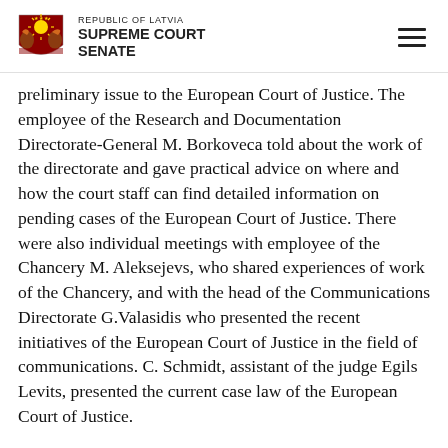REPUBLIC OF LATVIA SUPREME COURT SENATE
preliminary issue to the European Court of Justice. The employee of the Research and Documentation Directorate-General M. Borkoveca told about the work of the directorate and gave practical advice on where and how the court staff can find detailed information on pending cases of the European Court of Justice. There were also individual meetings with employee of the Chancery M. Aleksejevs, who shared experiences of work of the Chancery, and with the head of the Communications Directorate G.Valasidis who presented the recent initiatives of the European Court of Justice in the field of communications. C. Schmidt, assistant of the judge Egils Levits, presented the current case law of the European Court of Justice.